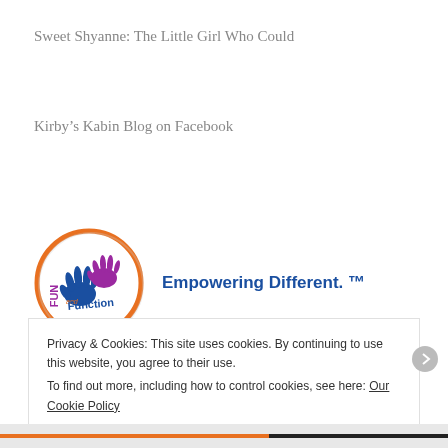Sweet Shyanne: The Little Girl Who Could
Kirby’s Kabin Blog on Facebook
[Figure (logo): Fun and Function logo: circular orange border with blue and purple hand illustrations and text 'FUN and Function', accompanied by the tagline 'Empowering Different.™' in bold blue text]
Privacy & Cookies: This site uses cookies. By continuing to use this website, you agree to their use.
To find out more, including how to control cookies, see here: Our Cookie Policy
Close and accept